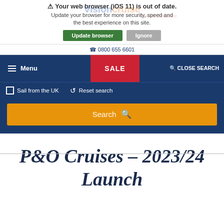Your web browser (iOS 11) is out of date. Update your browser for more security, speed and the best experience on this site.
Update browser   Ignore
0800 655 6601
VisionCruise — See the difference
Menu   SALE   CLOSE SEARCH
Sail from the UK   Reset search
Search
P&O Cruises – 2023/24 Launch